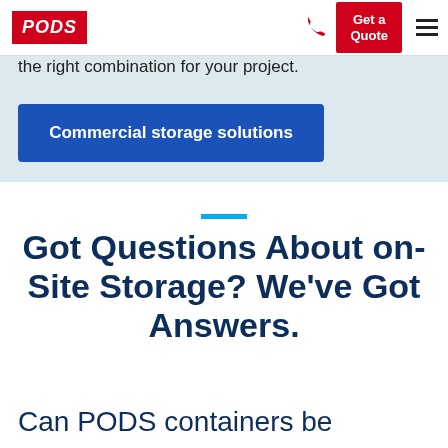PODS | Get a Quote
the right combination for your project.
Commercial storage solutions
Got Questions About on-Site Storage? We've Got Answers.
Can PODS containers be